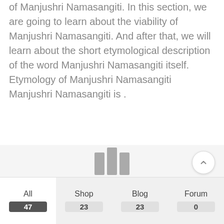of Manjushri Namasangiti. In this section, we are going to learn about the viability of Manjushri Namasangiti. And after that, we will learn about the short etymological description of the word Manjushri Namasangiti itself. Etymology of Manjushri Namasangiti Manjushri Namasangiti is .
Read More
[Figure (other): Loading spinner with three gray vertical bars of varying heights centered in a light gray section]
[Figure (other): Scroll-to-top circular button with upward chevron arrow]
All 47
Shop 23
Blog 23
Forum 0